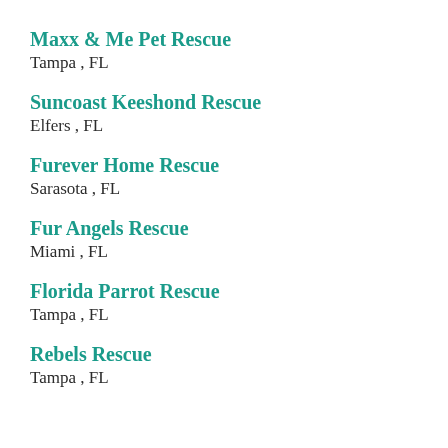Maxx & Me Pet Rescue
Tampa , FL
Suncoast Keeshond Rescue
Elfers , FL
Furever Home Rescue
Sarasota , FL
Fur Angels Rescue
Miami , FL
Florida Parrot Rescue
Tampa , FL
Rebels Rescue
Tampa , FL